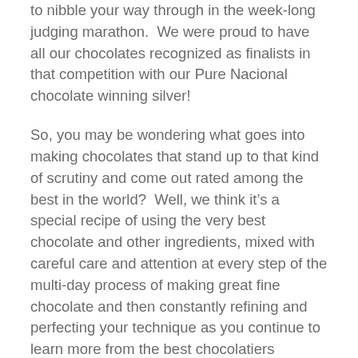to nibble your way through in the week-long judging marathon.  We were proud to have all our chocolates recognized as finalists in that competition with our Pure Nacional chocolate winning silver!
So, you may be wondering what goes into making chocolates that stand up to that kind of scrutiny and come out rated among the best in the world?  Well, we think it's a special recipe of using the very best chocolate and other ingredients, mixed with careful care and attention at every step of the multi-day process of making great fine chocolate and then constantly refining and perfecting your technique as you continue to learn more from the best chocolatiers around.
We find great local ingredients and pair those with only the best, and some of the rarest chocolate on earth – chocolate made by producers with more